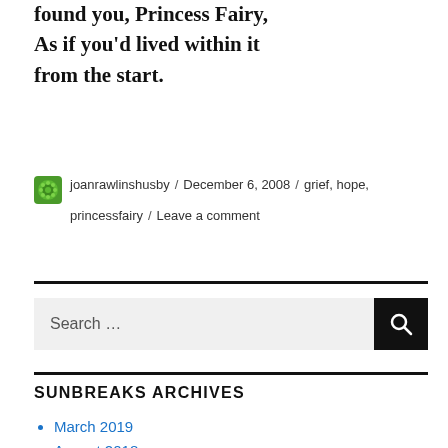found you, Princess Fairy,
As if you'd lived within it
from the start.
joanrawlinshusby / December 6, 2008 / grief, hope, princessfairy / Leave a comment
Search …
SUNBREAKS ARCHIVES
March 2019
August 2018